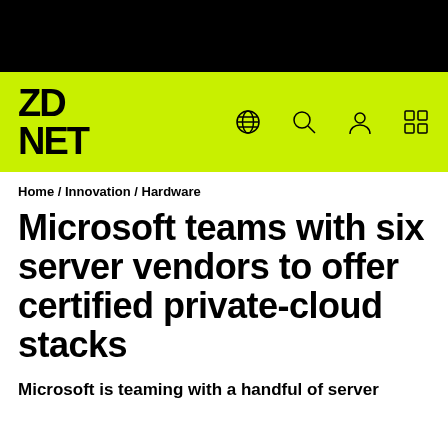[Figure (logo): ZDNet logo in black text on lime green navigation bar with globe, search, user, and grid icons]
Home / Innovation / Hardware
Microsoft teams with six server vendors to offer certified private-cloud stacks
Microsoft is teaming with a handful of server